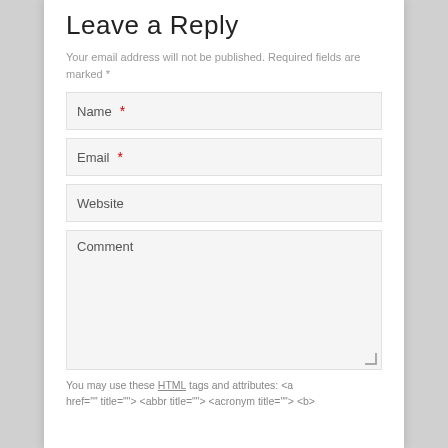Leave a Reply
Your email address will not be published. Required fields are marked *
Name *
Email *
Website
Comment
You may use these HTML tags and attributes: <a href="" title=""> <abbr title=""> <acronym title=""> <b>